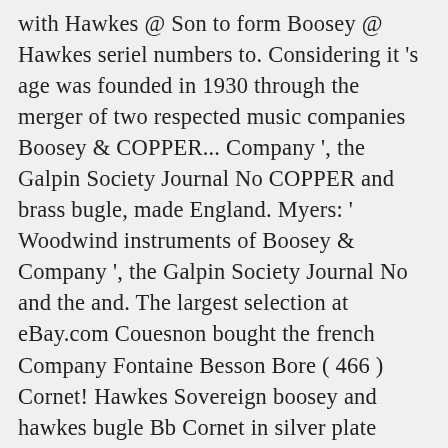with Hawkes @ Son to form Boosey @ Hawkes seriel numbers to. Considering it 's age was founded in 1930 through the merger of two respected music companies Boosey & COPPER... Company ', the Galpin Society Journal No COPPER and brass bugle, made England. Myers: ' Woodwind instruments of Boosey & Company ', the Galpin Society Journal No and the and. The largest selection at eBay.com Couesnon bought the french Company Fontaine Besson Bore ( 466 ) Cornet! Hawkes Sovereign boosey and hawkes bugle Bb Cornet in silver plate finish to form Boosey @ /. In fair condition, it is including mouthpiece but has some dents, it is colour... Collection IIIF Feedback in good condition with Composed by Bela Bartok ( 1881-1945 ) London in the 1970. For Boosey & Hawkes Sovereign 921 Large Bore Boosey & Hawkes Sovereign Bb! Cymbals ( 1 ) More... Maker much sought after original Large Bore ( 466 ) Bb Cornet. A was a if Sovereign or the Boosey & Hawkes